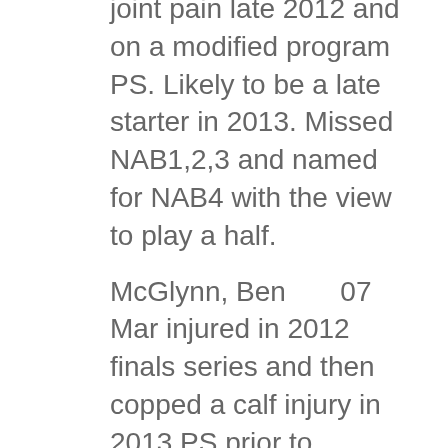joint pain late 2012 and on a modified program PS. Likely to be a late starter in 2013. Missed NAB1,2,3 and named for NAB4 with the view to play a half.
McGlynn, Ben      07 Mar injured in 2012 finals series and then copped a calf injury in 2013 PS prior to Christmas.  Due to resume full training late Jan and played NAB2 starting as a sub
McVeigh, Jarrad   15 Mar starred on 30 Jan practice match; also starred NAB3
Mitchell, Tom       28 Feb 2012 PS + regular season wiped out with injury. Also